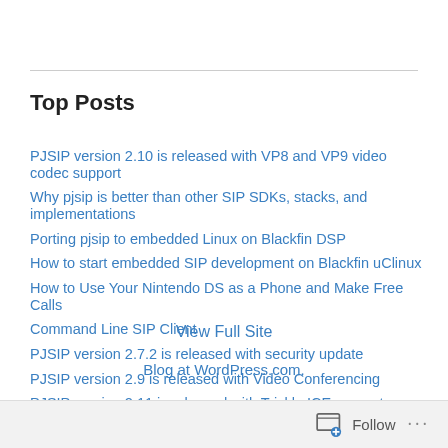Top Posts
PJSIP version 2.10 is released with VP8 and VP9 video codec support
Why pjsip is better than other SIP SDKs, stacks, and implementations
Porting pjsip to embedded Linux on Blackfin DSP
How to start embedded SIP development on Blackfin uClinux
How to Use Your Nintendo DS as a Phone and Make Free Calls
Command Line SIP Client
PJSIP version 2.7.2 is released with security update
PJSIP version 2.9 is released with Video Conferencing
PJSIP version 2.11 is released with Trickle ICE support
View Full Site
Blog at WordPress.com.